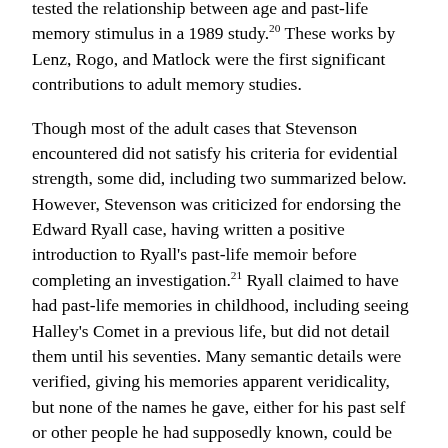tested the relationship between age and past-life memory stimulus in a 1989 study.20 These works by Lenz, Rogo, and Matlock were the first significant contributions to adult memory studies.
Though most of the adult cases that Stevenson encountered did not satisfy his criteria for evidential strength, some did, including two summarized below. However, Stevenson was criticized for endorsing the Edward Ryall case, having written a positive introduction to Ryall's past-life memoir before completing an investigation.21 Ryall claimed to have had past-life memories in childhood, including seeing Halley's Comet in a previous life, but did not detail them until his seventies. Many semantic details were verified, giving his memories apparent veridicality, but none of the names he gave, either for his past self or other people he had supposedly known, could be traced in history, obliging Stevenson later to alter his evaluation.22